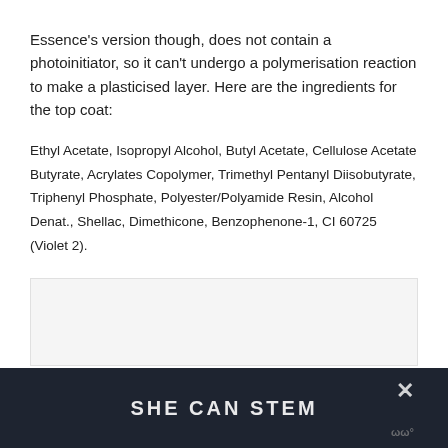Essence's version though, does not contain a photoinitiator, so it can't undergo a polymerisation reaction to make a plasticised layer. Here are the ingredients for the top coat:
Ethyl Acetate, Isopropyl Alcohol, Butyl Acetate, Cellulose Acetate Butyrate, Acrylates Copolymer, Trimethyl Pentanyl Diisobutyrate, Triphenyl Phosphate, Polyester/Polyamide Resin, Alcohol Denat., Shellac, Dimethicone, Benzophenone-1, CI 60725 (Violet 2).
[Figure (other): Light gray placeholder image box]
SHE CAN STEM